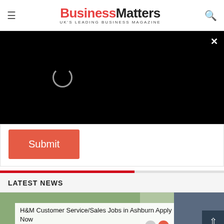Business Matters — UK'S LEADING BUSINESS MAGAZINE
[Figure (screenshot): Black video player overlay with loading spinner circle and close (×) button in top-right corner]
[Figure (screenshot): Red Submit button on white form background]
LATEST NEWS
[Figure (screenshot): News article thumbnail: H&M Customer Service/Sales Jobs in Ashburn Apply Now — jobble.com — with right-side image of retail store and scroll-to-top button]